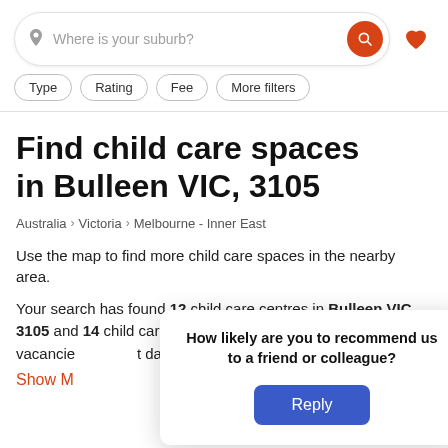Where is your suburb?
Type
Rating
Fee
More filters
Find child care spaces in Bulleen VIC, 3105
Australia > Victoria > Melbourne - Inner East
Use the map to find more child care spaces in the nearby area.
Your search has found 12 child care centres in Bulleen VIC, 3105 and 14 child care centres nearby. Compare vacancies at the best daycare
Show M
How likely are you to recommend us to a friend or colleague? Reply